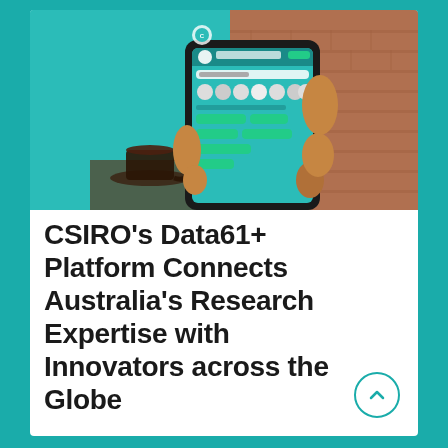[Figure (screenshot): A hand holding a smartphone displaying the CSIRO ExpertConnect platform app interface, with a brick wall and a coffee cup in the background. The app screen shows search results for 'Cyber safety' with profile thumbnails and green action buttons.]
CSIRO's Data61+ Platform Connects Australia's Research Expertise with Innovators across the Globe